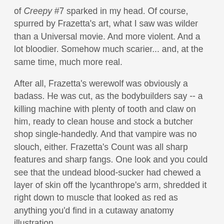of Creepy #7 sparked in my head. Of course, spurred by Frazetta's art, what I saw was wilder than a Universal movie. And more violent. And a lot bloodier. Somehow much scarier... and, at the same time, much more real.
After all, Frazetta's werewolf was obviously a badass. He was cut, as the bodybuilders say -- a killing machine with plenty of tooth and claw on him, ready to clean house and stock a butcher shop single-handedly. And that vampire was no slouch, either. Frazetta's Count was all sharp features and sharp fangs. One look and you could see that the undead blood-sucker had chewed a layer of skin off the lycanthrope's arm, shredded it right down to muscle that looked as red as anything you'd find in a cutaway anatomy illustration.
Of course, I wasn't even eight years old. I didn't have the words to articulate my attraction to the cover of Creepy #7 in quite that way back then. But it certainly captured my imagination. Right away, I wanted to know what started that fight -- who that werewolf was, who the bloodsucker was. I wanted to watch their battle unfold in the shadow of that